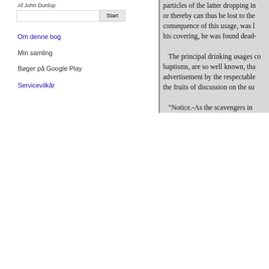Af John Dunlop
Om denne bog
Min samling
Bøger på Google Play
Servicevilkår
particles of the latter dropping in or thereby can thus be lost to the consequence of this usage, was l his covering, he was found dead-

The principal drinking usages co baptisms, are so well known, tha advertisement by the respectable the fruits of discussion on the su

"Notice.-As the scavengers in in the practice at this season of t the provost and magistrates earn gratuity, as the money so raised i injuring their own health, and lea

"It is expected that those to w contractor, that they may be disn

"Council Chambers."

One custom we omitted at the morning that succeeded the mar straw rope a creel or basket to hi which the bride sustained in this by the weight of this practical jo